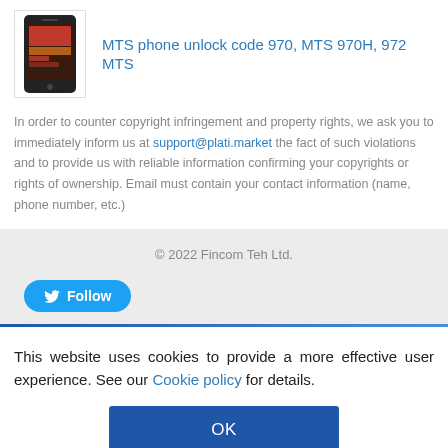[Figure (photo): Smartphone product image (MTS phone)]
MTS phone unlock code 970, MTS 970H, 972 MTS
In order to counter copyright infringement and property rights, we ask you to immediately inform us at support@plati.market the fact of such violations and to provide us with reliable information confirming your copyrights or rights of ownership. Email must contain your contact information (name, phone number, etc.)
© 2022 Fincom Teh Ltd.
[Figure (other): Twitter Follow button]
This website uses cookies to provide a more effective user experience. See our Cookie policy for details.